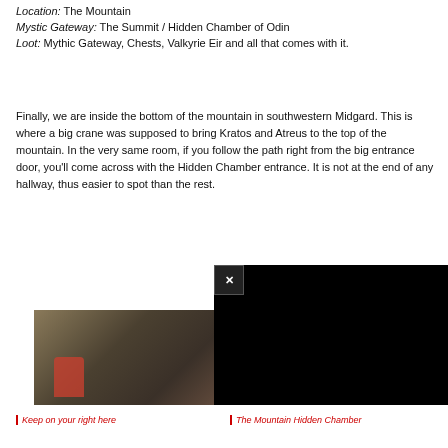Location: The Mountain
Mystic Gateway: The Summit / Hidden Chamber of Odin
Loot: Mythic Gateway, Chests, Valkyrie Eir and all that comes with it.
Finally, we are inside the bottom of the mountain in southwestern Midgard. This is where a big crane was supposed to bring Kratos and Atreus to the top of the mountain. In the very same room, if you follow the path right from the big entrance door, you'll come across with the Hidden Chamber entrance. It is not at the end of any hallway, thus easier to spot than the rest.
[Figure (screenshot): Game screenshot showing interior of mountain with Kratos character visible]
[Figure (screenshot): Dark game screenshot showing mountain hidden chamber area]
Keep on your right here
The Mountain Hidden Chamber